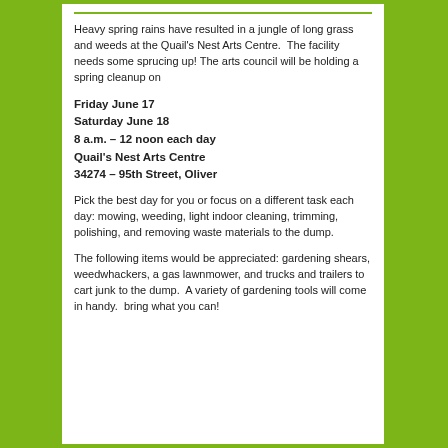Heavy spring rains have resulted in a jungle of long grass and weeds at the Quail's Nest Arts Centre.  The facility needs some sprucing up! The arts council will be holding a spring cleanup on
Friday June 17
Saturday June 18
8 a.m. – 12 noon each day
Quail's Nest Arts Centre
34274 – 95th Street, Oliver
Pick the best day for you or focus on a different task each day: mowing, weeding, light indoor cleaning, trimming, polishing, and removing waste materials to the dump.
The following items would be appreciated: gardening shears, weedwhackers, a gas lawnmower, and trucks and trailers to cart junk to the dump.  A variety of gardening tools will come in handy.  bring what you can!